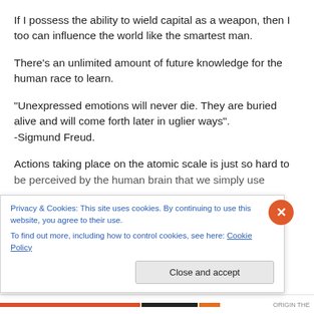If I possess the ability to wield capital as a weapon, then I too can influence the world like the smartest man.
There's an unlimited amount of future knowledge for the human race to learn.
“Unexpressed emotions will never die. They are buried alive and will come forth later in uglier ways”. -Sigmund Freud.
Actions taking place on the atomic scale is just so hard to be perceived by the human brain that we simply use
Privacy & Cookies: This site uses cookies. By continuing to use this website, you agree to their use. To find out more, including how to control cookies, see here: Cookie Policy
Close and accept